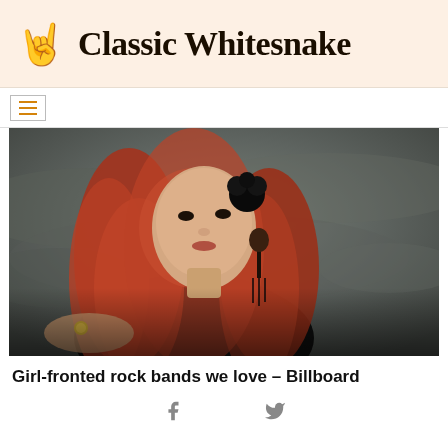Classic Whitesnake
[Figure (photo): A woman with long red hair wearing black clothing and black hair accessories with a dark floral ornament, posing in front of a grey-green textured background]
Girl-fronted rock bands we love – Billboard
Facebook and Twitter social share icons